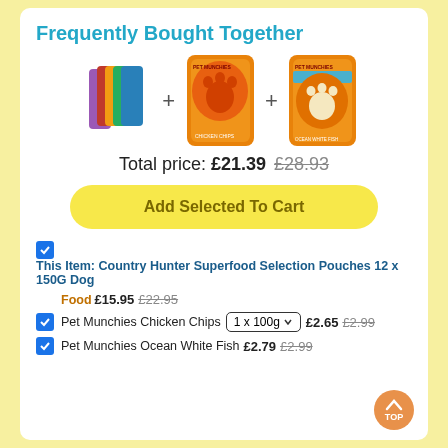Frequently Bought Together
[Figure (illustration): Three product images in a row: Country Hunter Superfood multi-colored pouches, Pet Munchies Chicken Chips orange bag with paw print, Pet Munchies Ocean White Fish orange bag with white paw print, separated by + signs]
Total price: £21.39 £28.93
Add Selected To Cart
This Item: Country Hunter Superfood Selection Pouches 12 x 150G Dog
Food £15.95 £22.95
Pet Munchies Chicken Chips 1 x 100g £2.65 £2.99
Pet Munchies Ocean White Fish £2.79 £2.99